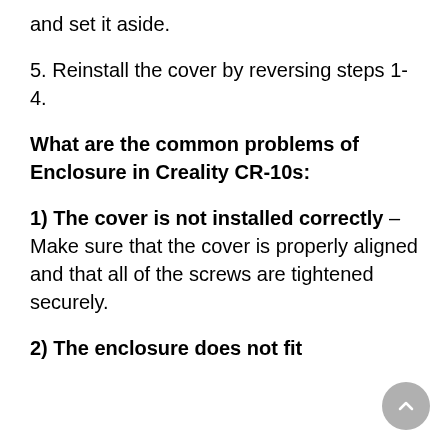and set it aside.
5. Reinstall the cover by reversing steps 1-4.
What are the common problems of Enclosure in Creality CR-10s:
1) The cover is not installed correctly – Make sure that the cover is properly aligned and that all of the screws are tightened securely.
2) The enclosure does not fit